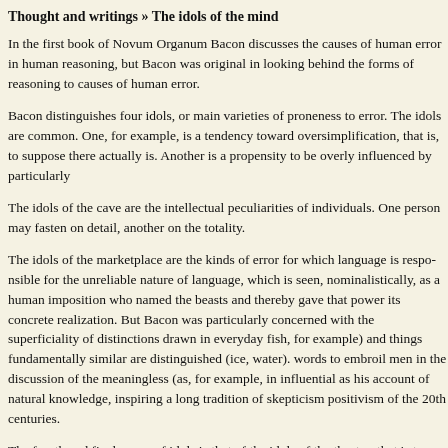Thought and writings » The idols of the mind
In the first book of Novum Organum Bacon discusses the causes of human error in human reasoning, but Bacon was original in looking behind the forms of reasoning to the causes of human error.
Bacon distinguishes four idols, or main varieties of proneness to error. The idols of the tribe are those common to the race. One, for example, is a tendency toward oversimplification, that is, to suppose more order there actually is. Another is a propensity to be overly influenced by particularly
The idols of the cave are the intellectual peculiarities of individuals. One person may tend to fasten on detail, another on the totality.
The idols of the marketplace are the kinds of error for which language is responsible because of the unreliable nature of language, which is seen, nominalistically, as a human imposition. It was Adam who named the beasts and thereby gave that power its concrete realization. Bacon was particularly concerned with the superficiality of distinctions drawn in everyday language (creatures like fish, for example) and things fundamentally similar are distinguished (ice, water). There are words to embroil men in the discussion of the meaningless (as, for example, in scholasticism). Influential as his account of natural knowledge, inspiring a long tradition of skepticism about language, positivism of the 20th centuries.
The fourth and final group of idols is that of the idols of the theatre, that is to say, it embraces all beliefs of any degree of generality. Bacon's critical polemic in directing his fire, for example, of the vain affectations of the humanists, but they were not a very turned their attention to nonphilosophical matters because of the apparent inability Bacon does have something to say about the skeptical philosophy to which he